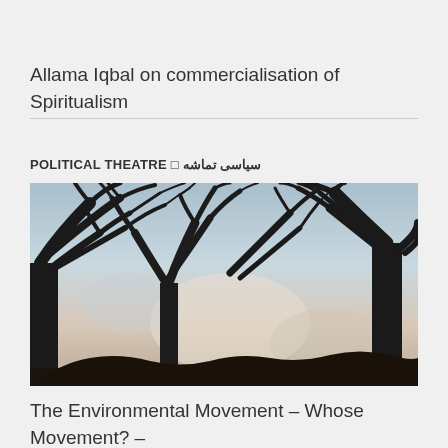Allama Iqbal on commercialisation of Spiritualism
POLITICAL THEATRE □ سیاسی تماشہ
[Figure (photo): Silhouette of bare winter trees with dark branches against a pale blue and grey sky, shot from below looking upward.]
The Environmental Movement – Whose Movement? –